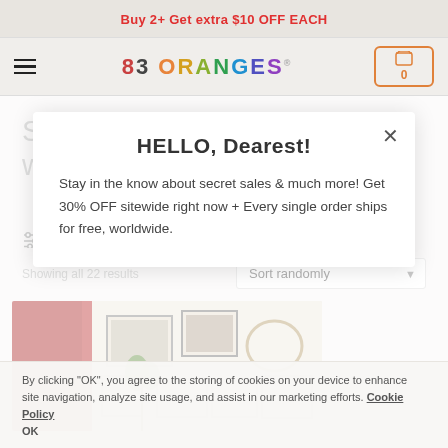Buy 2+ Get extra $10 OFF EACH
[Figure (screenshot): 83 Oranges logo in multicolor letters with trademark symbol]
[Figure (screenshot): Shopping cart icon with 0 badge, orange border]
Shop Art & Canvas Prints with Tag Earthy
SHOW FILTERS
Showing all 22 results
Sort randomly
[Figure (photo): Room wall with art prints and canvas prints displayed]
HELLO, Dearest!
Stay in the know about secret sales & much more! Get 30% OFF sitewide right now + Every single order ships for free, worldwide.
By clicking "OK", you agree to the storing of cookies on your device to enhance site navigation, analyze site usage, and assist in our marketing efforts. Cookie Policy
OK